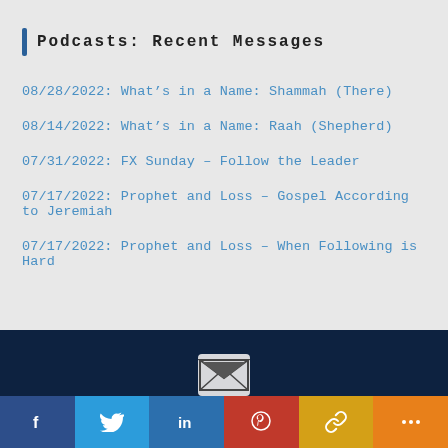Podcasts: Recent Messages
08/28/2022: What’s in a Name: Shammah (There)
08/14/2022: What’s in a Name: Raah (Shepherd)
07/31/2022: FX Sunday – Follow the Leader
07/17/2022: Prophet and Loss – Gospel According to Jeremiah
07/17/2022: Prophet and Loss – When Following is Hard
f  Twitter  in  Pinterest  Share  More